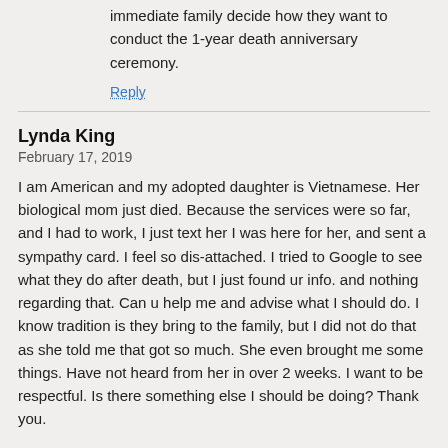immediate family decide how they want to conduct the 1-year death anniversary ceremony.
Reply
Lynda King
February 17, 2019
I am American and my adopted daughter is Vietnamese. Her biological mom just died. Because the services were so far, and I had to work, I just text her I was here for her, and sent a sympathy card. I feel so dis-attached. I tried to Google to see what they do after death, but I just found ur info. and nothing regarding that. Can u help me and advise what I should do. I know tradition is they bring to the family, but I did not do that as she told me that got so much. She even brought me some things. Have not heard from her in over 2 weeks. I want to be respectful. Is there something else I should be doing? Thank you.
Reply